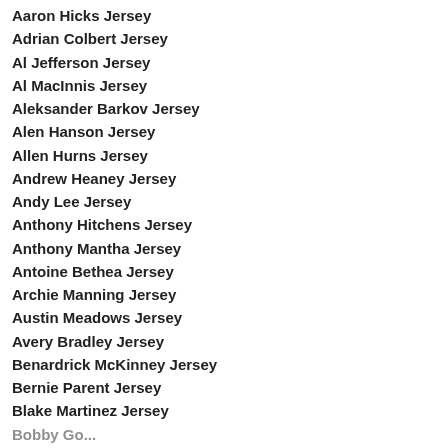Aaron Hicks Jersey
Adrian Colbert Jersey
Al Jefferson Jersey
Al MacInnis Jersey
Aleksander Barkov Jersey
Alen Hanson Jersey
Allen Hurns Jersey
Andrew Heaney Jersey
Andy Lee Jersey
Anthony Hitchens Jersey
Anthony Mantha Jersey
Antoine Bethea Jersey
Archie Manning Jersey
Austin Meadows Jersey
Avery Bradley Jersey
Benardrick McKinney Jersey
Bernie Parent Jersey
Blake Martinez Jersey
Bobby Goddard Jersey